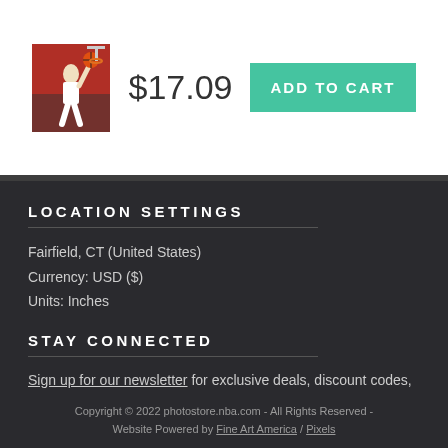[Figure (photo): Basketball player dunking, product thumbnail image]
$17.09
ADD TO CART
LOCATION SETTINGS
Fairfield, CT (United States)
Currency: USD ($)
Units: Inches
STAY CONNECTED
Sign up for our newsletter for exclusive deals, discount codes, and more.
[Figure (infographic): Social media icons: Facebook, Twitter, Instagram, Pinterest, YouTube]
Copyright © 2022 photostore.nba.com - All Rights Reserved - Website Powered by Fine Art America / Pixels